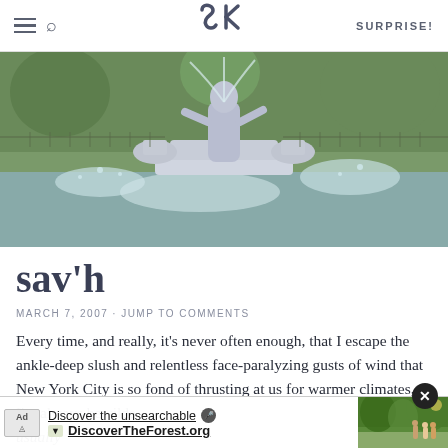SK — SURPRISE!
[Figure (photo): Outdoor fountain with classical statue, water spraying, surrounded by greenery]
sav'h
MARCH 7, 2007 · JUMP TO COMMENTS
Every time, and really, it's never often enough, that I escape the ankle-deep slush and relentless face-paralyzing gusts of wind that New York City is so fond of thrusting at us for warmer climates, I'm always bewilde... it's usually... take
[Figure (screenshot): Ad overlay: Discover the unsearchable — DiscoverTheForest.org with forest photo and close button]